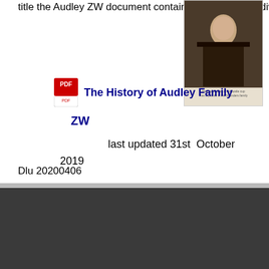title the Audley ZW document contains details of 49 individuals
[Figure (photo): Portrait painting of a historical figure in dark clothing, with a caption below in small text]
The History of Audley Family ZW
last updated 31st October 2019
Dlu 20200406
⭐ Our Research of Audley
Audley Family Trees
Other Family Trees
Published Information
Newspaper Articles